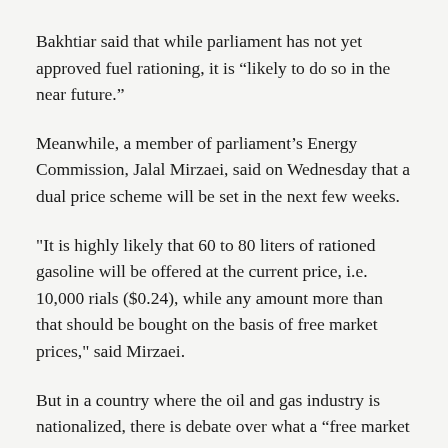Bakhtiar said that while parliament has not yet approved fuel rationing, it is “likely to do so in the near future.”
Meanwhile, a member of parliament’s Energy Commission, Jalal Mirzaei, said on Wednesday that a dual price scheme will be set in the next few weeks.
"It is highly likely that 60 to 80 liters of rationed gasoline will be offered at the current price, i.e. 10,000 rials ($0.24), while any amount more than that should be bought on the basis of free market prices," said Mirzaei.
But in a country where the oil and gas industry is nationalized, there is debate over what a “free market price” means.